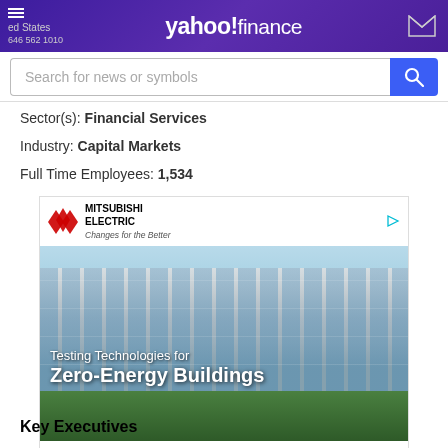Yahoo! Finance — United States, 646-562-1010
Sector(s): Financial Services
Industry: Capital Markets
Full Time Employees: 1,534
[Figure (screenshot): Mitsubishi Electric advertisement featuring a modern building facade with text 'Testing Technologies for Zero-Energy Buildings' and 'Read Our Stories' call to action.]
Key Executives